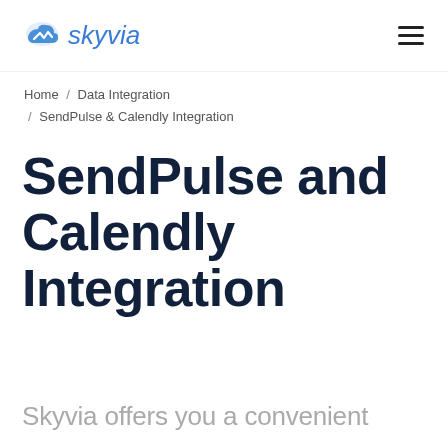skyvia
Home / Data Integration / SendPulse & Calendly Integration
SendPulse and Calendly Integration
Skyvia offers you a convenient